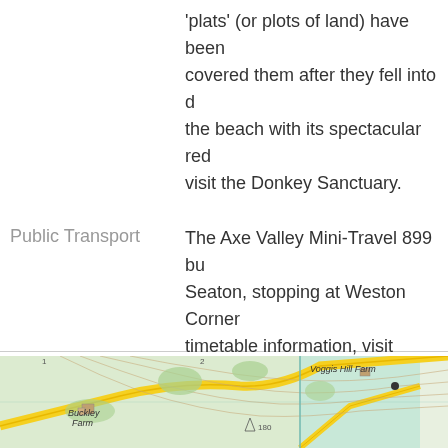'plats' (or plots of land) have been covered them after they fell into d the beach with its spectacular red visit the Donkey Sanctuary.
Public Transport
The Axe Valley Mini-Travel 899 bu Seaton, stopping at Weston Corner timetable information, visit Traveli phone 0871 200 22 33
Nearest car park
Weston
Nearest toilets
Branscombe
Nearest refreshments
Sidmouth or Branscombe
[Figure (map): Ordnance Survey style topographic map showing Buckley Farm, Voggis Hill Farm, and surrounding countryside with contour lines, roads, and elevation markers. Shows spot height 180.]